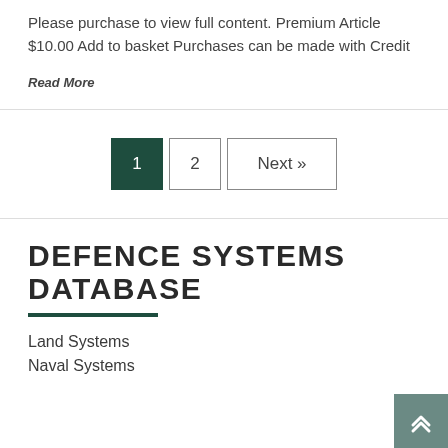Please purchase to view full content. Premium Article $10.00 Add to basket Purchases can be made with Credit
Read More
1  2  Next »
DEFENCE SYSTEMS DATABASE
Land Systems
Naval Systems